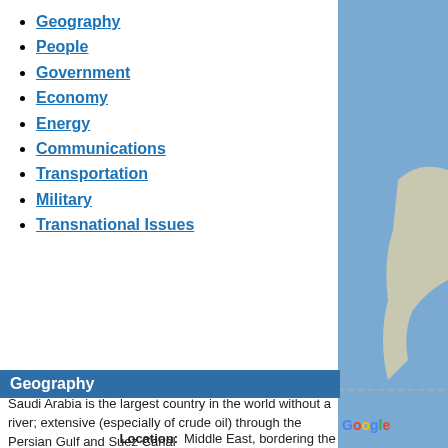Geography
People
Government
Economy
Energy
Communications
Transportation
Military
Transnational Issues
[Figure (map): Partial Google Maps view showing Saudi Arabia region with blue background, partial landmass visible, Google watermark at bottom]
Geography
Saudi Arabia is the largest country in the world without a river; extensive (especially of crude oil) through the Persian Gulf and Suez Canal
Location: Middle East, bordering the Persia...
Geographic coordinates: 25 00 N, 45 00 E
Area: total: 2,149,690 sq km
land: 2,149,690 sq km
water: 0 sq km
Size comparison: slightly more th...
Land Boundaries: total: 4,272 km border countries (7...